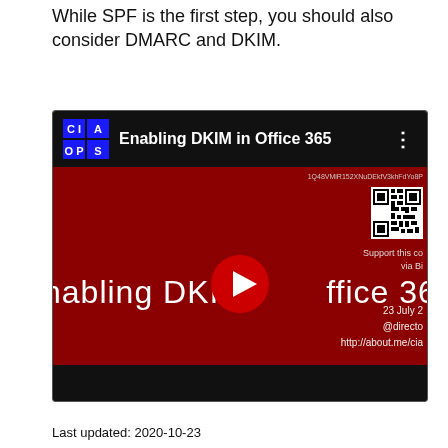While SPF is the first step, you should also consider DMARC and DKIM.
[Figure (screenshot): Embedded YouTube video thumbnail showing 'Enabling DKIM in Office 365' with CIAOPS logo, red background with large white text, a play button, QR code, and date/URL overlay text.]
Last updated: 2020-10-23